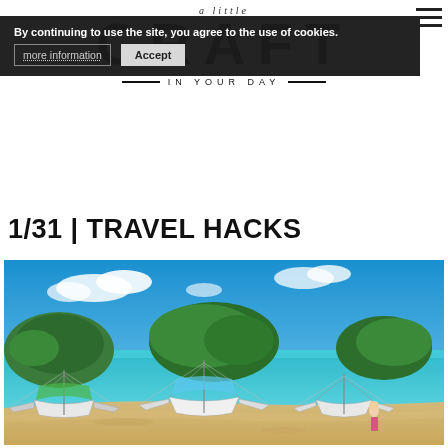a little CRAFT IN YOUR DAY
By continuing to use the site, you agree to the use of cookies.
more information  Accept
1/31 | TRAVEL HACKS
[Figure (photo): Tropical beach scene with outrigger boats on turquoise water, green islands in background, blue sky with clouds, sandy beach in foreground with a person standing.]